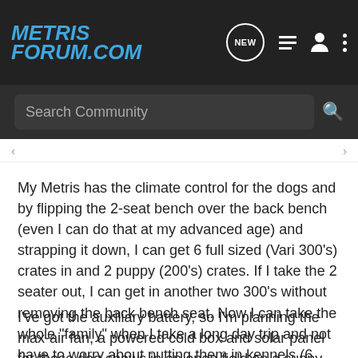METRIS FORUM.COM
Search Community
My Metris has the climate control for the dogs and by flipping the 2-seat bench over the back bench (even I can do that at my advanced age) and strapping it down, I can get 6 full sized (Vari 300's) crates in and 2 puppy (200's) crates. If I take the 2 seater out, I can get in another two 300's without removing the back bench seat. Now I can take the whole "family" when I take a long day trip and not have to worry about putting them in kennels (6 dogs x 2 nights x $20) - Even border patrol understands why I take them with me on those breeding runs to the US.
I've got the auxiliary battery, so I'm planning the max-air fan, a powered cold box and solar panel for those dog shows in an open field on a sunny day, or meal stops where its best to leave